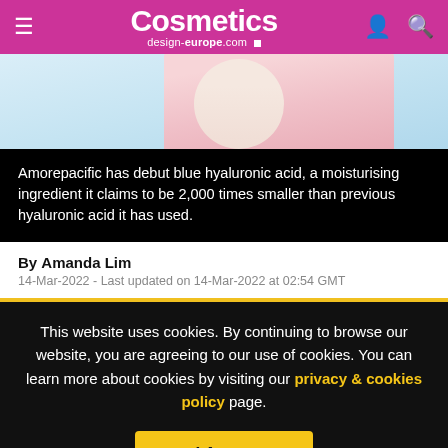Cosmetics design-europe.com
[Figure (photo): Woman holding a towel or cloth to her face, wearing a pink top, light blue background]
Amorepacific has debut blue hyaluronic acid, a moisturising ingredient it claims to be 2,000 times smaller than previous hyaluronic acid it has used.
By Amanda Lim
14-Mar-2022 - Last updated on 14-Mar-2022 at 02:54 GMT
This website uses cookies. By continuing to browse our website, you are agreeing to our use of cookies. You can learn more about cookies by visiting our privacy & cookies policy page.